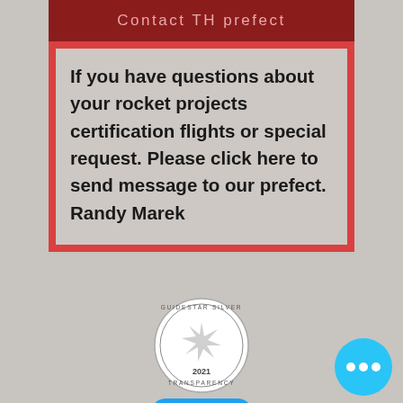Contact TH prefect
If you have questions about your rocket projects certification flights or special request. Please click here to send message to our prefect. Randy Marek
[Figure (logo): GuideStar Silver Transparency 2021 badge — circular badge with star icon and text around the border]
[Figure (logo): Twitter Follow button — blue rounded rectangle with Twitter bird icon and 'Follow' text]
[Figure (logo): Texas rocketry organization logo — red Texas state shape with rocket silhouette and orbit arc]
[Figure (other): Blue circular chat/more options button with three white dots]